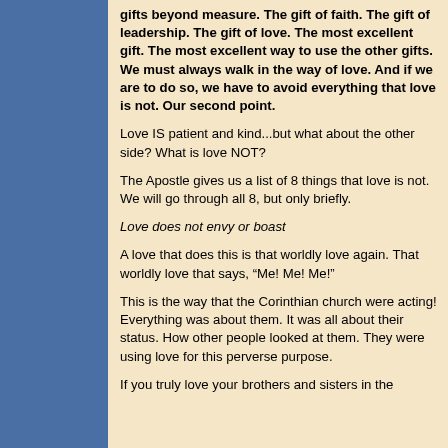gifts beyond measure.  The gift of faith.  The gift of leadership.  The gift of love.  The most excellent gift.  The most excellent way to use the other gifts.  We must always walk in the way of love.  And if we are to do so, we have to avoid everything that love is not.  Our second point.
Love IS patient and kind...but what about the other side?  What is love NOT?
The Apostle gives us a list of 8 things that love is not.  We will go through all 8, but only briefly.
Love does not envy or boast
A love that does this is that worldly love again.  That worldly love that says, “Me!  Me!  Me!”
This is the way that the Corinthian church were acting!  Everything was about them.  It was all about their status.  How other people looked at them.  They were using love for this perverse purpose.
If you truly love your brothers and sisters in the